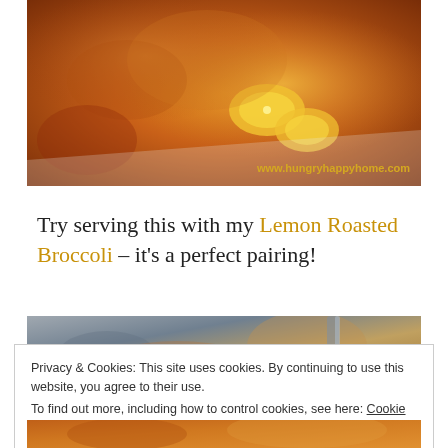[Figure (photo): Close-up photo of roasted salmon or chicken with lemon slices on a baking dish, with watermark www.hungryhappyhome.com]
Try serving this with my Lemon Roasted Broccoli – it's a perfect pairing!
[Figure (photo): Partial food photo visible behind cookie consent bar]
Privacy & Cookies: This site uses cookies. By continuing to use this website, you agree to their use.
To find out more, including how to control cookies, see here: Cookie Policy
Close and accept
[Figure (photo): Bottom partial food photo]